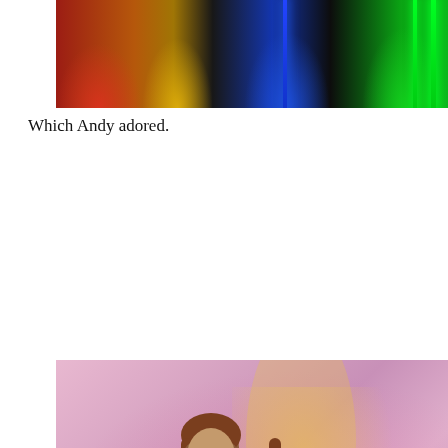[Figure (photo): Photo of colorful neon light tubes (red, yellow, blue, green) reflecting on a dark floor, taken in a gallery or art installation setting.]
Which Andy adored.
[Figure (photo): Photo of a person with long reddish-brown hair wearing a black sweater, standing in front of a pink/magenta and yellow light art installation on a white wall.]